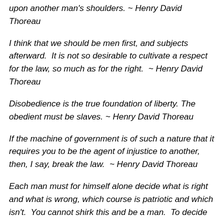upon another man's shoulders. ~ Henry David Thoreau
I think that we should be men first, and subjects afterward.  It is not so desirable to cultivate a respect for the law, so much as for the right.  ~ Henry David Thoreau
Disobedience is the true foundation of liberty. The obedient must be slaves. ~ Henry David Thoreau
If the machine of government is of such a nature that it requires you to be the agent of injustice to another, then, I say, break the law.  ~ Henry David Thoreau
Each man must for himself alone decide what is right and what is wrong, which course is patriotic and which isn't.  You cannot shirk this and be a man.  To decide